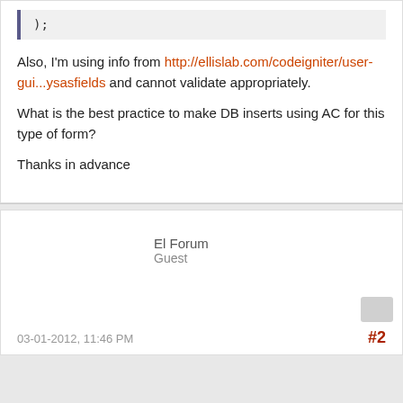);
Also, I'm using info from http://ellislab.com/codeigniter/user-gui...ysasfields and cannot validate appropriately.
What is the best practice to make DB inserts using AC for this type of form?
Thanks in advance
El Forum
Guest
03-01-2012, 11:46 PM
#2